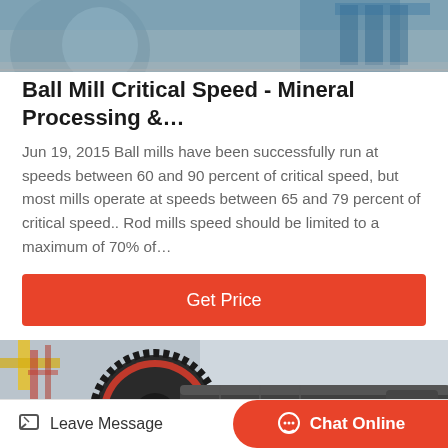[Figure (photo): Industrial machinery, top partial view of ball mill equipment in factory setting]
Ball Mill Critical Speed - Mineral Processing &…
Jun 19, 2015 Ball mills have been successfully run at speeds between 60 and 90 percent of critical speed, but most mills operate at speeds between 65 and 79 percent of critical speed.. Rod mills speed should be limited to a maximum of 70% of…
[Figure (photo): Close-up industrial photo of ball mill gear drive and cylindrical drum in a factory/warehouse setting]
Leave Message
Chat Online